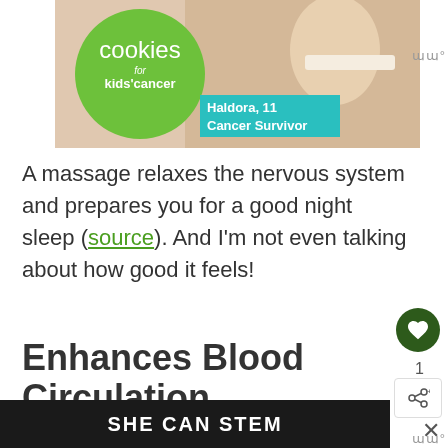[Figure (photo): Advertisement banner for 'cookies for kids' cancer' charity featuring a green circle logo with the text 'cookies for kids' cancer', a teal box saying 'Haldora, 11 Cancer Survivor', and a photo of a person holding a chocolate-glazed food item]
A massage relaxes the nervous system and prepares you for a good night sleep (source). And I'm not even talking about how good it feels!
Enhances Blood Circulation
[Figure (photo): Dark advertisement banner with white bold text reading 'SHE CAN STEM']